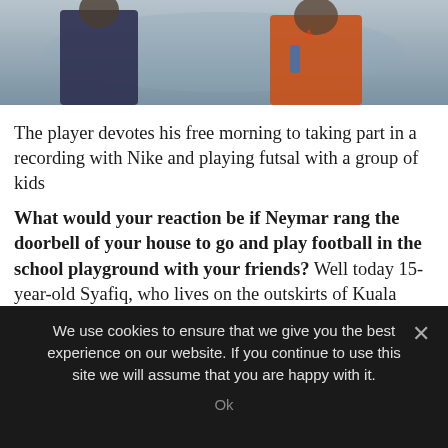[Figure (photo): Two people visible from torso down; one in dark blue shirt on left, one in orange shirt on right holding a bottle, outdoor setting with blurred background]
The player devotes his free morning to taking part in a recording with Nike and playing futsal with a group of kids
What would your reaction be if Neymar rang the doorbell of your house to go and play football in the school playground with your friends? Well today 15-year-old Syafiq, who lives on the outskirts of Kuala Lumpur, can explain exactly how that feels, after having one of the most exciting times of his life. We accompanied him on this great adventure and now we can tell you exactly what happened,
We use cookies to ensure that we give you the best experience on our website. If you continue to use this site we will assume that you are happy with it.
Ok